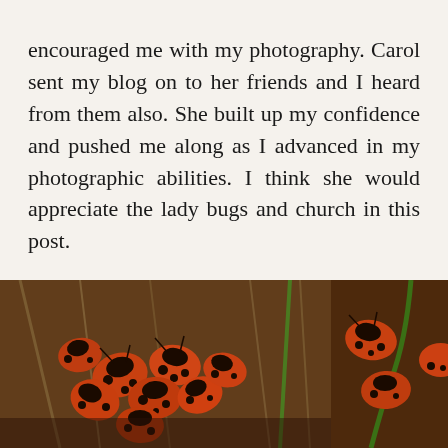encouraged me with my photography. Carol sent my blog on to her friends and I heard from them also. She built up my confidence and pushed me along as I advanced in my photographic abilities. I think she would appreciate the lady bugs and church in this post.

She is now soaring with the angels. I will miss you Carol, my dear friend.
[Figure (photo): Two close-up photographs of clusters of orange and black spotted ladybugs (ladybirds) grouped together, with grass and leaves visible in the background. Left photo shows many ladybugs gathered together. Right photo is partially visible at the right edge showing more ladybugs.]